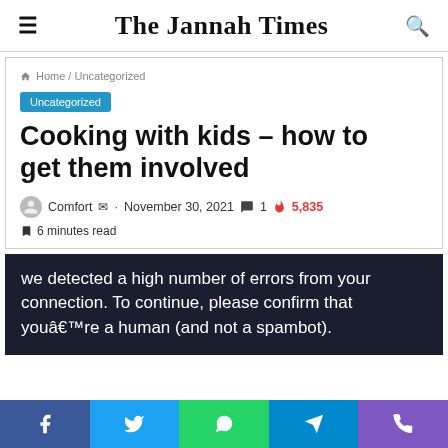The Jannah Times
Home / Uncategorized
Uncategorized
Cooking with kids – how to get them involved
Comfort · November 30, 2021 · 1 comment · 5,835 views · 6 minutes read
we detected a high number of errors from your connection. To continue, please confirm that you're a human (and not a spambot).